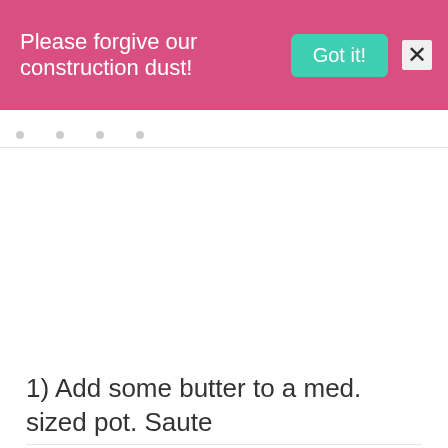Please forgive our construction dust! Got it! X
1) Add some butter to a med. sized pot. Saute
onions, pepper (or celery) and garlic, until softened.